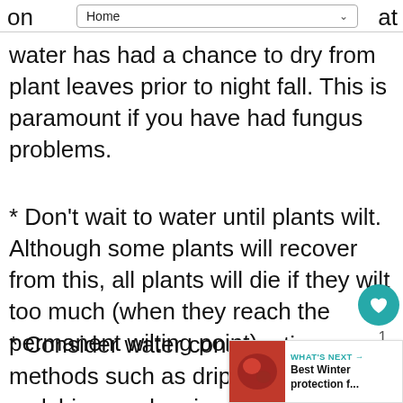Home
water has had a chance to dry from plant leaves prior to night fall. This is paramount if you have had fungus problems.
* Don't wait to water until plants wilt. Although some plants will recover from this, all plants will die if they wilt too much (when they reach the permanent wilting point).
* Consider water conservation methods such as drip irrigation, mulching, and xeriscaping. Drip systems which slowly drip moisture directly on the root system can be purchased at your local home and garden center. Mulch can significantly cool the root zone and